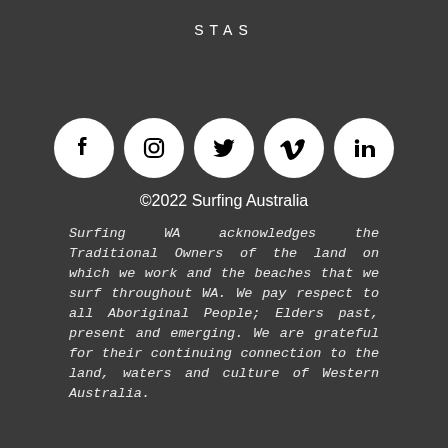STAS
[Figure (infographic): Five social media icons in white circles: Facebook (f), Instagram (camera), Twitter (bird), Vimeo (V), LinkedIn (in)]
©2022 Surfing Australia
Surfing WA acknowledges the Traditional Owners of the land on which we work and the beaches that we surf throughout WA. We pay respect to all Aboriginal People; Elders past, present and emerging. We are grateful for their continuing connection to the land, waters and culture of Western Australia.